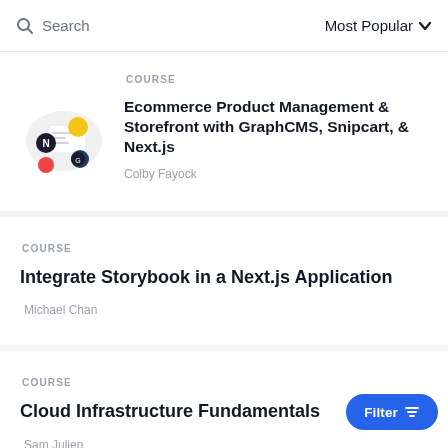Search | Most Popular
COURSE
Ecommerce Product Management & Storefront with GraphCMS, Snipcart, & Next.js
Colby Fayock
COURSE
Integrate Storybook in a Next.js Application
Michael Chan
COURSE
Cloud Infrastructure Fundamentals
Sam Julien